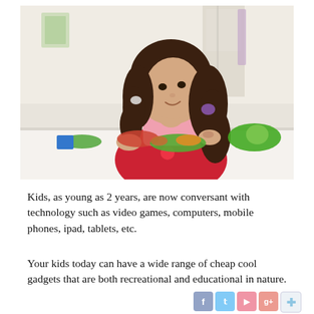[Figure (photo): A young girl with curly dark hair in pigtails, wearing a red apron over a pink shirt, playing with colorful clay or playdough at a white table in a classroom setting. There are blue and green blocks and various colored clay pieces on the table.]
Kids, as young as 2 years, are now conversant with technology such as video games, computers, mobile phones, ipad, tablets, etc.
Your kids today can have a wide range of cheap cool gadgets that are both recreational and educational in nature.